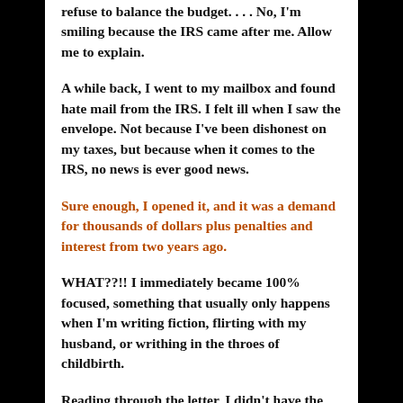refuse to balance the budget. . . . No, I'm smiling because the IRS came after me. Allow me to explain.
A while back, I went to my mailbox and found hate mail from the IRS. I felt ill when I saw the envelope. Not because I've been dishonest on my taxes, but because when it comes to the IRS, no news is ever good news.
Sure enough, I opened it, and it was a demand for thousands of dollars plus penalties and interest from two years ago.
WHAT??!! I immediately became 100% focused, something that usually only happens when I'm writing fiction, flirting with my husband, or writhing in the throes of childbirth.
Reading through the letter, I didn't have the first flaming clue what they were talking about. Some